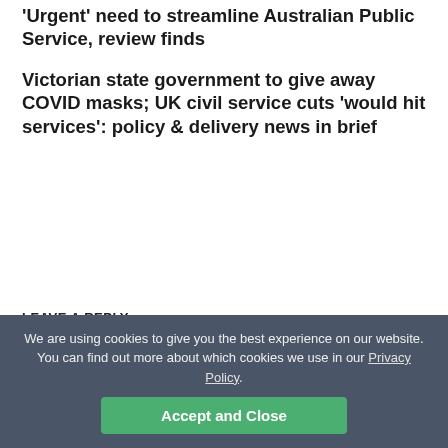'Urgent' need to streamline Australian Public Service, review finds
Victorian state government to give away COVID masks; UK civil service cuts 'would hit services': policy & delivery news in brief
LEAVE A REPLY
Your email address will not be published. Required fields are marked *
Comment *
We are using cookies to give you the best experience on our website. You can find out more about which cookies we use in our Privacy Policy.
Accept and Close